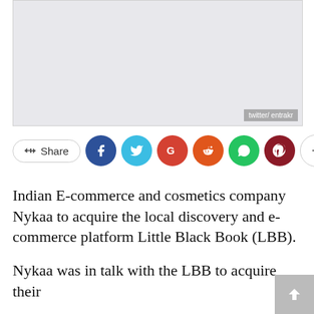[Figure (photo): Light gray placeholder image with 'twitter/ entrakr' watermark in bottom right corner]
[Figure (infographic): Social media share bar with Share button, Facebook, Twitter, Google+, Reddit, WhatsApp, Pinterest circle icons, and a plus button]
Indian E-commerce and cosmetics company Nykaa to acquire the local discovery and e-commerce platform Little Black Book (LBB).
Nykaa was in talk with the LBB to acquire their